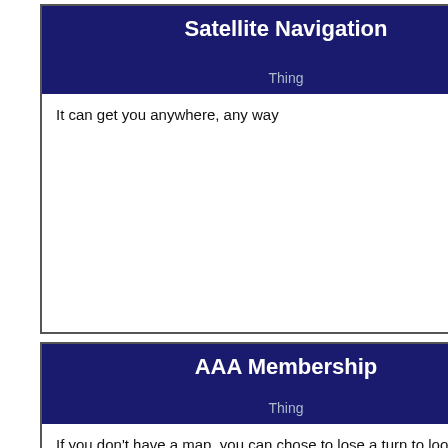Satellite Navigation
Thing
It can get you anywhere, any way
AAA Membership
Thing
If you don't have a map, you can chose to lose a turn to look through the deck for one. Shuffle the deck after you're done.